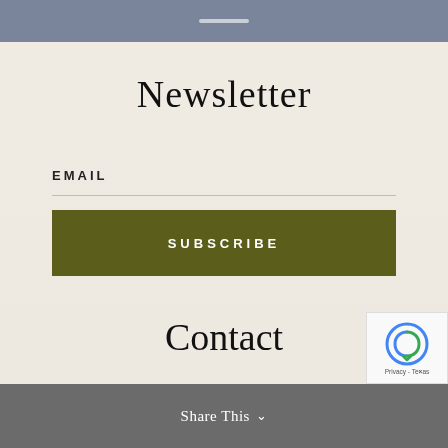Newsletter
EMAIL
SUBSCRIBE
Contact
Share This